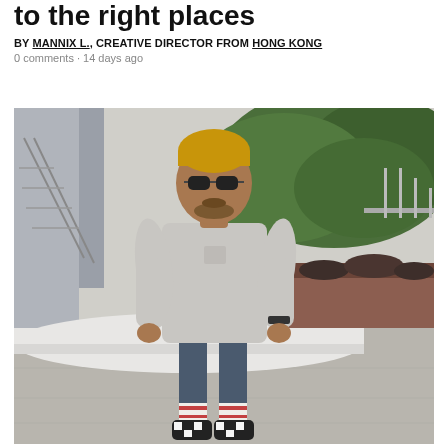to the right places
BY MANNIX L., CREATIVE DIRECTOR FROM HONG KONG
0 comments · 14 days ago
[Figure (photo): A man with dyed yellow hair and sunglasses stands outdoors. He wears a grey oversized t-shirt, dark blue shorts, striped socks, and checkered Vans slip-on shoes. He is standing on a concrete surface with a white curved wall behind him, green trees and a building structure in the background.]